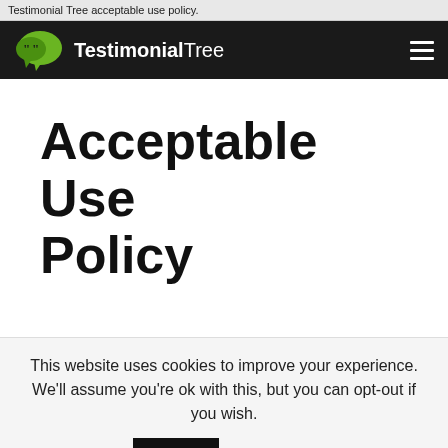Testimonial Tree acceptable use policy.
[Figure (logo): TestimonialTree logo: green speech bubble icon with quotation marks, white text 'TestimonialTree' on black navbar, hamburger menu icon on right]
Acceptable Use Policy
This website uses cookies to improve your experience. We'll assume you're ok with this, but you can opt-out if you wish. Accept Read More